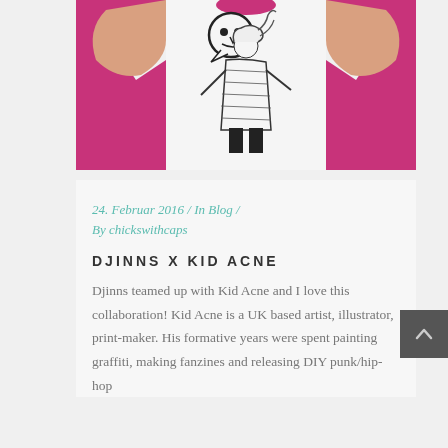[Figure (photo): Person wearing a white t-shirt with a black line illustration on a pink/magenta background]
24. Februar 2016  /  In Blog  /  By chickswithcaps
DJINNS X KID ACNE
Djinns teamed up with Kid Acne and I love this collaboration! Kid Acne is a UK based artist, illustrator, print-maker. His formative years were spent painting graffiti, making fanzines and releasing DIY punk/hip-hop